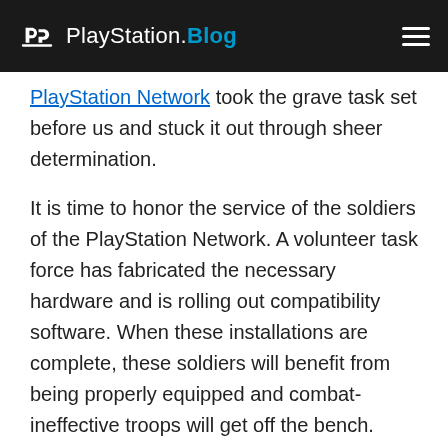PlayStation.Blog
PlayStation Network took the grave task set before us and stuck it out through sheer determination.
It is time to honor the service of the soldiers of the PlayStation Network. A volunteer task force has fabricated the necessary hardware and is rolling out compatibility software. When these installations are complete, these soldiers will benefit from being properly equipped and combat-ineffective troops will get off the bench. We’ll all have more comrades watching our backs, and we’re now watching theirs. Reinforcements are coming. Soldiers of the PlayStation Network: Welcome to the fight.